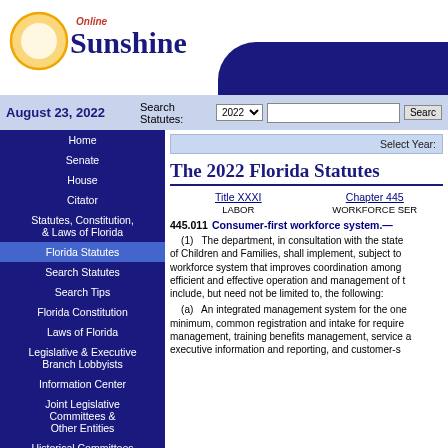Online Sunshine — Florida Legislature website header with logo
August 23, 2022   Search Statutes: 2022   Search
Home
Senate
House
Citator
Statutes, Constitution, & Laws of Florida
Florida Statutes
Search Statutes
Search Tips
Florida Constitution
Laws of Florida
Legislative & Executive Branch Lobbyists
Information Center
Joint Legislative Committees & Other Entities
Historical Committees
Florida Government Efficiency Task Force
Legislative Employment
Legistore
The 2022 Florida Statutes
Title XXXI   LABOR   Chapter 445   WORKFORCE SER...
445.011   Consumer-first workforce system.—
(1)   The department, in consultation with the state... of Children and Families, shall implement, subject to... workforce system that improves coordination among... efficient and effective operation and management of t... include, but need not be limited to, the following:
(a)   An integrated management system for the one... minimum, common registration and intake for require... management, training benefits management, service a... executive information and reporting, and customer-s...